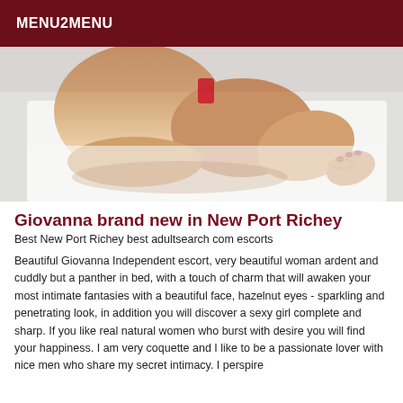MENU2MENU
[Figure (photo): Close-up photo of a woman lying on a white bed, showing legs and lower body]
Giovanna brand new in New Port Richey
Best New Port Richey best adultsearch com escorts
Beautiful Giovanna Independent escort, very beautiful woman ardent and cuddly but a panther in bed, with a touch of charm that will awaken your most intimate fantasies with a beautiful face, hazelnut eyes - sparkling and penetrating look, in addition you will discover a sexy girl complete and sharp. If you like real natural women who burst with desire you will find your happiness. I am very coquette and I like to be a passionate lover with nice men who share my secret intimacy. I perspire